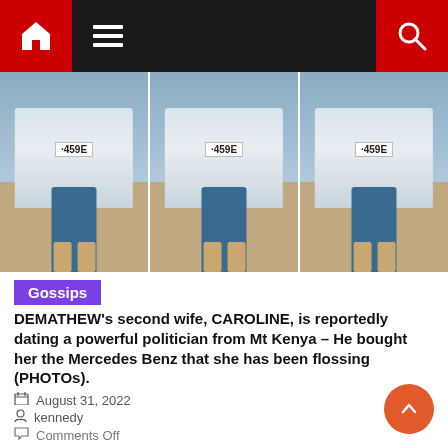Navigation bar with home, menu, and search icons
[Figure (photo): Three side-by-side panels showing a person standing in front of a white Mercedes Benz with license plate '459E', wearing blue denim shorts and sandals]
Gossips
DEMATHEW's second wife, CAROLINE, is reportedly dating a powerful politician from Mt Kenya – He bought her the Mercedes Benz that she has been flossing (PHOTOs).
August 31, 2022
kennedy
Comments Off
Late John Demathew's Wife, Caroline, is claimed to date a powerful politician from Mt Kenya. As indicated by gossip mills, the lovely and voluptuous Caroline is dating former kiambu Governor William Kabogo. Kabogo's affair with